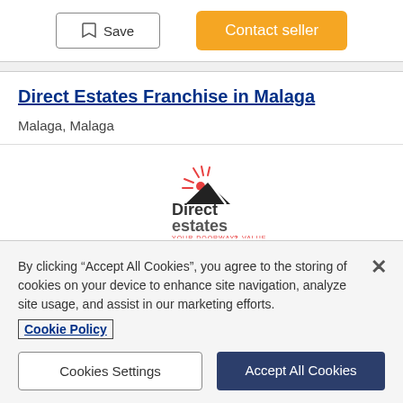[Figure (other): Save button with bookmark icon and Contact seller orange button]
Direct Estates Franchise in Malaga
Malaga, Malaga
[Figure (logo): Direct Estates logo with house/roof graphic and tagline YOUR DOORWAY 2 VALUE]
At Direct Estates we do not believe in penalizing success
By clicking "Accept All Cookies", you agree to the storing of cookies on your device to enhance site navigation, analyze site usage, and assist in our marketing efforts.
Cookie Policy
Cookies Settings
Accept All Cookies